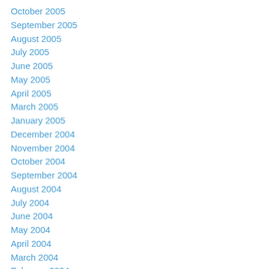October 2005
September 2005
August 2005
July 2005
June 2005
May 2005
April 2005
March 2005
January 2005
December 2004
November 2004
October 2004
September 2004
August 2004
July 2004
June 2004
May 2004
April 2004
March 2004
February 2004